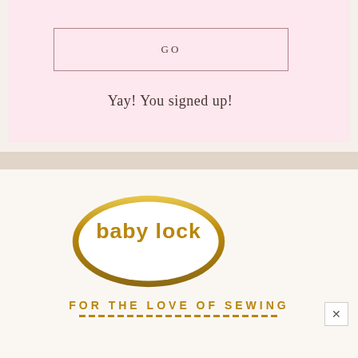GO
Yay! You signed up!
[Figure (logo): Baby Lock logo — oval shape with gold gradient border containing the text 'baby lock' in bold gold letters, with tagline 'FOR THE LOVE OF SEWING' below in gold capital letters with dashed underline]
FOR THE LOVE OF SEWING